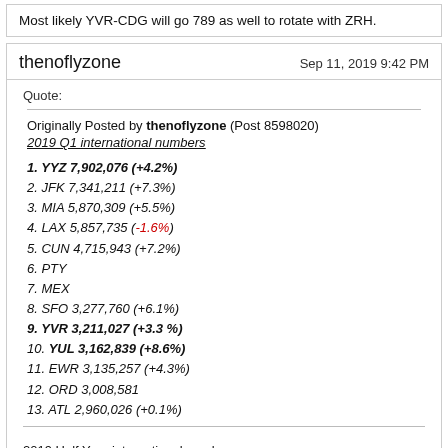Most likely YVR-CDG will go 789 as well to rotate with ZRH.
thenoflyzone
Sep 11, 2019 9:42 PM
Quote:
Originally Posted by thenoflyzone (Post 8598020)
2019 Q1 international numbers
1. YYZ 7,902,076 (+4.2%)
2. JFK 7,341,211 (+7.3%)
3. MIA 5,870,309 (+5.5%)
4. LAX 5,857,735 (-1.6%)
5. CUN 4,715,943 (+7.2%)
6. PTY
7. MEX
8. SFO 3,277,760 (+6.1%)
9. YVR 3,211,027 (+3.3 %)
10. YUL 3,162,839 (+8.6%)
11. EWR 3,135,257 (+4.3%)
12. ORD 3,008,581
13. ATL 2,960,026 (+0.1%)
2019 Half Year international numbers
1. JFK 16,446,821 (+4.5%)